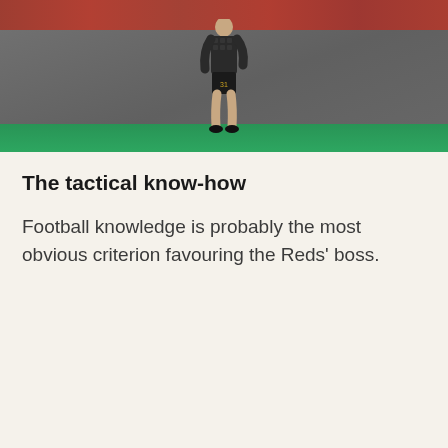[Figure (photo): A football player wearing a black patterned kit with dark shorts, standing on a pitch with a crowd and blue advertising boards in the background.]
The tactical know-how
Football knowledge is probably the most obvious criterion favouring the Reds' boss.